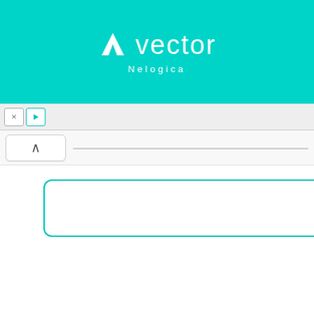[Figure (logo): Vector Nelogica logo on teal/cyan background header banner with white V chevron icon and 'vector' text with 'Nelogica' subtitle]
[Figure (screenshot): Application toolbar with X and play button icons on light grey background]
[Figure (screenshot): Navigation bar with up/back chevron button on left and address bar with horizontal line on right]
[Figure (screenshot): Search input box with teal border and rounded corners, with teal search button (magnifying glass icon) on the right]